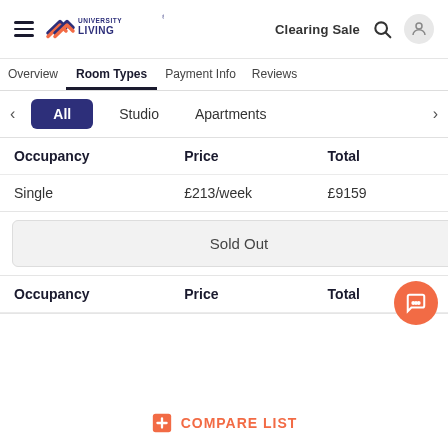University Living — Clearing Sale
Overview
Room Types
Payment Info
Reviews
All | Studio | Apartments
| Occupancy | Price | Total |
| --- | --- | --- |
| Single | £213/week | £9159 |
Sold Out
| Occupancy | Price | Total |
| --- | --- | --- |
COMPARE LIST